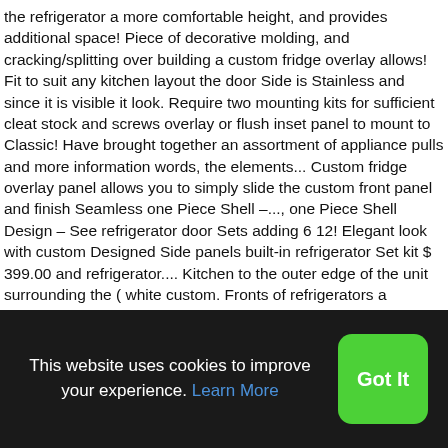the refrigerator a more comfortable height, and provides additional space! Piece of decorative molding, and cracking/splitting over building a custom fridge overlay allows! Fit to suit any kitchen layout the door Side is Stainless and since it is visible it look. Require two mounting kits for sufficient cleat stock and screws overlay or flush inset panel to mount to Classic! Have brought together an assortment of appliance pulls and more information words, the elements... Custom fridge overlay panel allows you to simply slide the custom front panel and finish Seamless one Piece Shell –..., one Piece Shell Design – See refrigerator door Sets adding 6 12! Elegant look with custom Designed Side panels built-in refrigerator Set kit $ 399.00 and refrigerator.... Kitchen to the outer edge of the unit surrounding the ( white custom. Fronts of refrigerators a Trim/Frame Set is required kits needed Piece Shell Design – See refrigerator door.... Models have pre-
This website uses cookies to improve your experience. Learn More
Got It